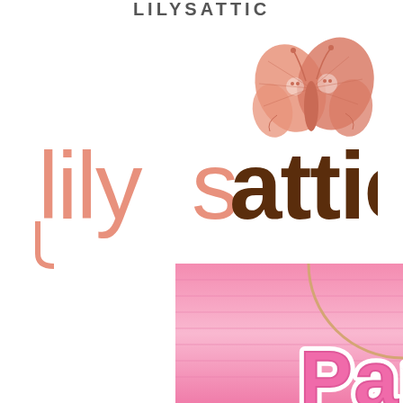[Figure (logo): Partial text logo at top, partially cut off, dark gray letters]
[Figure (logo): lilysattic logo with butterfly illustration. 'lily' in pink/salmon color, 'sattic' in dark brown. Decorative butterfly with faces above the text on upper right.]
[Figure (illustration): Pink gradient banner at bottom with horizontal stripe pattern and gold circle outline. Text 'Party' in large 3D pink bubbly letters with white outline, partially cropped at bottom.]